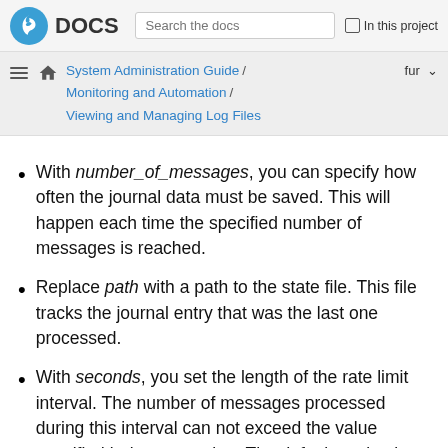Fedora DOCS — Search the docs — In this project
System Administration Guide / Monitoring and Automation / Viewing and Managing Log Files
With number_of_messages, you can specify how often the journal data must be saved. This will happen each time the specified number of messages is reached.
Replace path with a path to the state file. This file tracks the journal entry that was the last one processed.
With seconds, you set the length of the rate limit interval. The number of messages processed during this interval can not exceed the value specified in burst_number. The default setting is